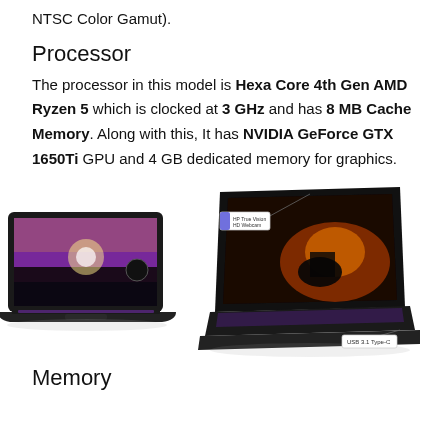NTSC Color Gamut).
Processor
The processor in this model is Hexa Core 4th Gen AMD Ryzen 5 which is clocked at 3 GHz and has 8 MB Cache Memory. Along with this, It has NVIDIA GeForce GTX 1650Ti GPU and 4 GB dedicated memory for graphics.
[Figure (photo): Two HP gaming laptops shown side by side. Left laptop shows a purple-lit keyboard and a gaming scene on screen. Right laptop shows another gaming scene with a horseman, with callout labels for HP True Vision HD Webcam and USB 3.1 Type-C.]
Memory